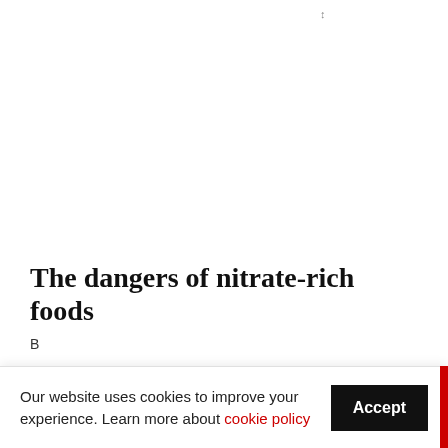The dangers of nitrate-rich foods
B
Our website uses cookies to improve your experience. Learn more about cookie policy
Accept